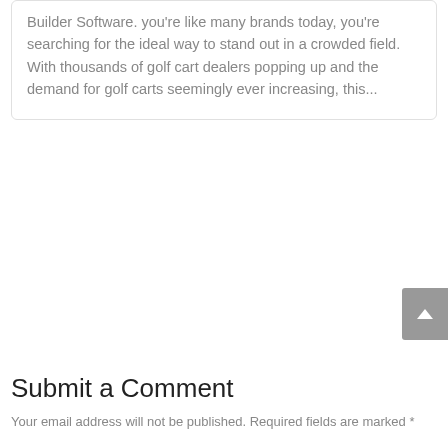Builder Software. you're like many brands today, you're searching for the ideal way to stand out in a crowded field. With thousands of golf cart dealers popping up and the demand for golf carts seemingly ever increasing, this...
Submit a Comment
Your email address will not be published. Required fields are marked *